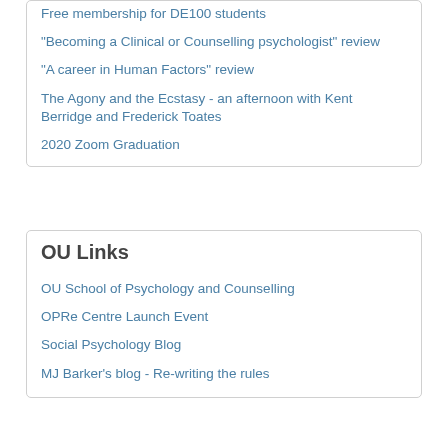Free membership for DE100 students
"Becoming a Clinical or Counselling psychologist" review
"A career in Human Factors" review
The Agony and the Ecstasy - an afternoon with Kent Berridge and Frederick Toates
2020 Zoom Graduation
OU Links
OU School of Psychology and Counselling
OPRe Centre Launch Event
Social Psychology Blog
MJ Barker's blog - Re-writing the rules